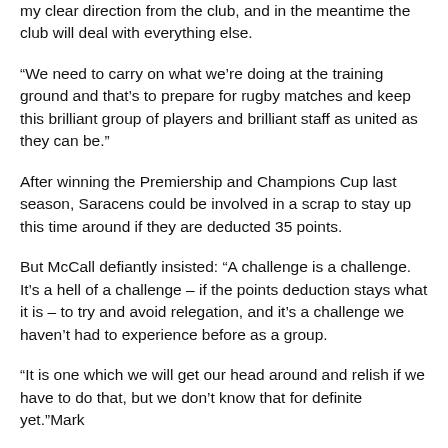my clear direction from the club, and in the meantime the club will deal with everything else.
“We need to carry on what we’re doing at the training ground and that’s to prepare for rugby matches and keep this brilliant group of players and brilliant staff as united as they can be.”
After winning the Premiership and Champions Cup last season, Saracens could be involved in a scrap to stay up this time around if they are deducted 35 points.
But McCall defiantly insisted: “A challenge is a challenge. It’s a hell of a challenge – if the points deduction stays what it is – to try and avoid relegation, and it’s a challenge we haven’t had to experience before as a group.
“It is one which we will get our head around and relish if we have to do that, but we don’t know that for definite yet.”Mark